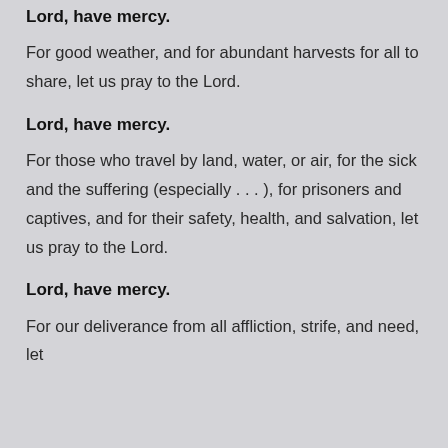Lord, have mercy.
For good weather, and for abundant harvests for all to share, let us pray to the Lord.
Lord, have mercy.
For those who travel by land, water, or air, for the sick and the suffering (especially . . . ), for prisoners and captives, and for their safety, health, and salvation, let us pray to the Lord.
Lord, have mercy.
For our deliverance from all affliction, strife, and need, let